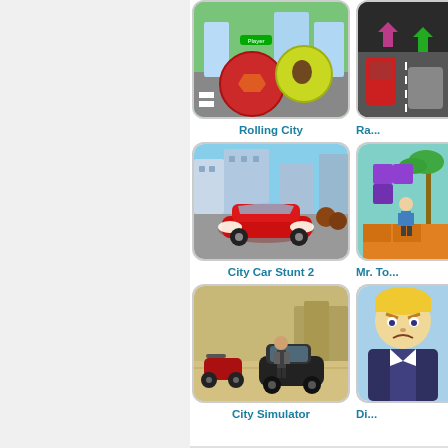[Figure (screenshot): Game thumbnail for Rolling City - colorful rolling balls in a city]
Rolling City
[Figure (screenshot): Game thumbnail for Ra... (partially visible) - racing game]
Ra...
[Figure (screenshot): Game thumbnail for City Car Stunt 2 - red sports car in city]
City Car Stunt 2
[Figure (screenshot): Game thumbnail for Mr. To... (partially visible) - puzzle game with blocks]
Mr. To...
[Figure (screenshot): Game thumbnail for City Simulator - person with vehicles]
City Simulator
[Figure (screenshot): Game thumbnail for Di... (partially visible) - cartoon fighter character]
Di...